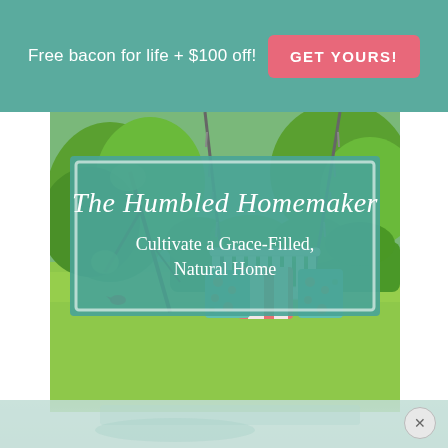Free bacon for life + $100 off!
GET YOURS!
[Figure (illustration): Book cover for 'The Humbled Homemaker: Cultivate a Grace-Filled, Natural Home' showing a porch swing with colorful cushions and garden greenery in the background. A teal rectangle with white border overlays the top portion with the title text.]
The Humbled Homemaker
Cultivate a Grace-Filled, Natural Home